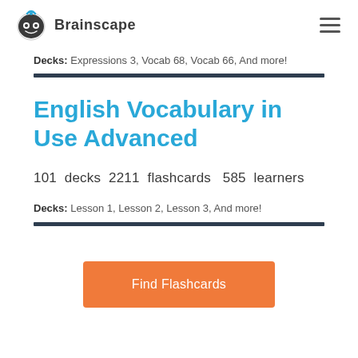Brainscape
Decks: Expressions 3, Vocab 68, Vocab 66, And more!
English Vocabulary in Use Advanced
101 decks 2211 flashcards  585 learners
Decks: Lesson 1, Lesson 2, Lesson 3, And more!
Find Flashcards